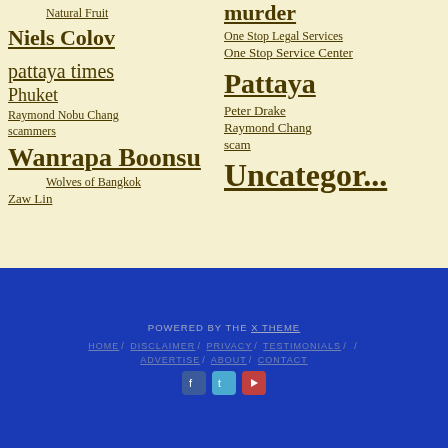Natural Fruit
Niels Colov
pattaya times
Phuket
Raymond Nobu Chang
scammers
Wanrapa Boonsu
Wolves of Bangkok
Zaw Lin
murder
One Stop Legal Services
One Stop Service Center
Pattaya
Peter Drake
Raymond Chang
scam
Uncategor...
POWERED BY THE X THEME HOME / DISCLAIMER / PRIVACY / TESTIMONIALS / ADVERTISE / ABOUT / CONTACT